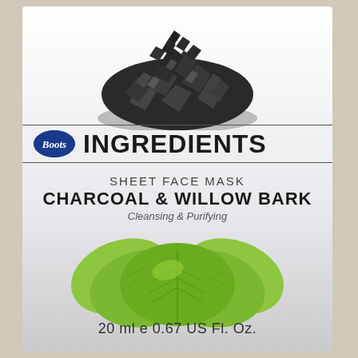[Figure (photo): Pile of dark charcoal granules/chunks at the top of the product packaging]
Boots INGREDIENTS
SHEET FACE MASK
CHARCOAL & WILLOW BARK
Cleansing & Purifying
[Figure (illustration): Green willow bark / leaf illustration showing several round green leaves]
20 ml e 0.67 US Fl. Oz.